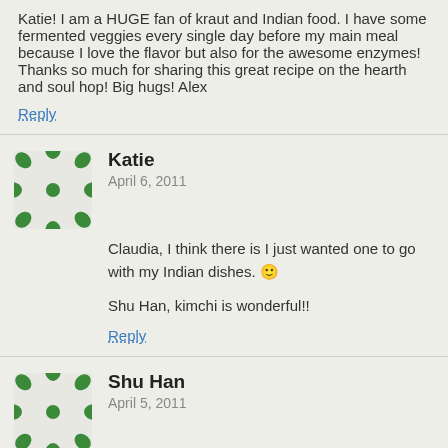Katie! I am a HUGE fan of kraut and Indian food. I have some fermented veggies every single day before my main meal because I love the flavor but also for the awesome enzymes! Thanks so much for sharing this great recipe on the hearth and soul hop! Big hugs! Alex
Reply
Katie
April 6, 2011
Claudia, I think there is I just wanted one to go with my Indian dishes. 🙂
Shu Han, kimchi is wonderful!!
Reply
Shu Han
April 5, 2011
ahhhh that sounds like such a good idea! i love fermented cabbage in the form of kimchi